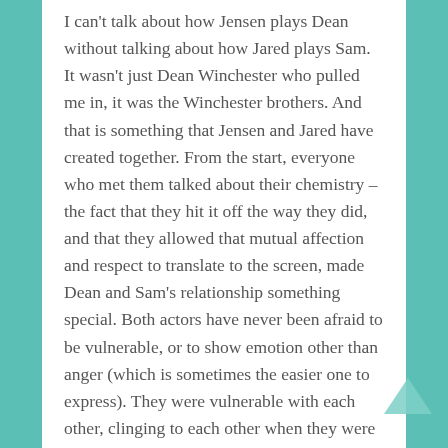I can't talk about how Jensen plays Dean without talking about how Jared plays Sam. It wasn't just Dean Winchester who pulled me in, it was the Winchester brothers. And that is something that Jensen and Jared have created together. From the start, everyone who met them talked about their chemistry – the fact that they hit it off the way they did, and that they allowed that mutual affection and respect to translate to the screen, made Dean and Sam's relationship something special. Both actors have never been afraid to be vulnerable, or to show emotion other than anger (which is sometimes the easier one to express). They were vulnerable with each other, clinging to each other when they were alone in the world – and that was tremendously compelling. I could relate – can still relate – and I'm so grateful to Jared and Jensen for bringing those